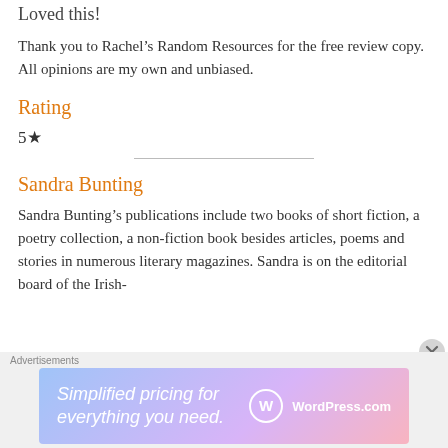Loved this!
Thank you to Rachel’s Random Resources for the free review copy. All opinions are my own and unbiased.
Rating
5★
Sandra Bunting
Sandra Bunting’s publications include two books of short fiction, a poetry collection, a non-fiction book besides articles, poems and stories in numerous literary magazines. Sandra is on the editorial board of the Irish-
[Figure (other): WordPress.com advertisement banner: 'Simplified pricing for everything you need.' with WordPress.com logo on gradient pink-purple-blue background]